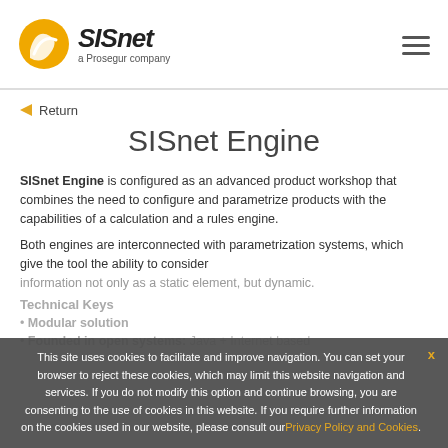SISnet — a Prosegur company
Return
SISnet Engine
SISnet Engine is configured as an advanced product workshop that combines the need to configure and parametrize products with the capabilities of a calculation and a rules engine.
Both engines are interconnected with parametrization systems, which give the tool the ability to consider information not only as a static element, but dynamic.
Technical Keys
Modular solution
Founded in open systems: Java + Internet based
This site uses cookies to facilitate and improve navigation. You can set your browser to reject these cookies, which may limit this website navigation and services. If you do not modify this option and continue browsing, you are consenting to the use of cookies in this website. If you require further information on the cookies used in our website, please consult our Privacy Policy and Cookies.